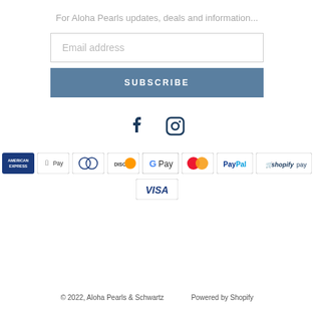For Aloha Pearls updates, deals and information...
Email address
SUBSCRIBE
[Figure (illustration): Facebook and Instagram social media icons in dark blue]
[Figure (illustration): Payment method icons: American Express, Apple Pay, Diners Club, Discover, Google Pay, Mastercard, PayPal, Shopify Pay, Visa]
© 2022, Aloha Pearls & Schwartz    Powered by Shopify